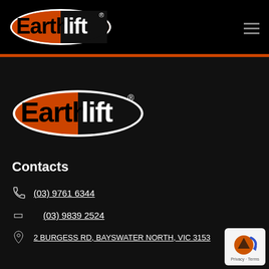Earthlift logo and navigation
[Figure (logo): Earthlift logo - large orange oval badge with black text 'Earth' on left and white text 'lift' on right, registered trademark symbol]
Contacts
(03) 9761 6344
(03) 9839 2524
2 BURGESS RD, BAYSWATER NORTH, VIC 3153